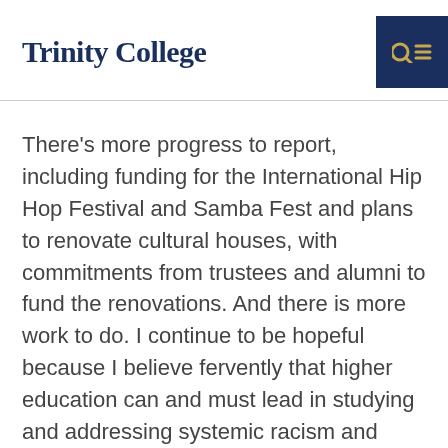Trinity College
There's more progress to report, including funding for the International Hip Hop Festival and Samba Fest and plans to renovate cultural houses, with commitments from trustees and alumni to fund the renovations. And there is more work to do. I continue to be hopeful because I believe fervently that higher education can and must lead in studying and addressing systemic racism and inequity in the United States. Indeed, the community's responses to our initial commitments have been inspiring.
Our alumni and trustees are our enthusiastic partners in these efforts, and I like to think...